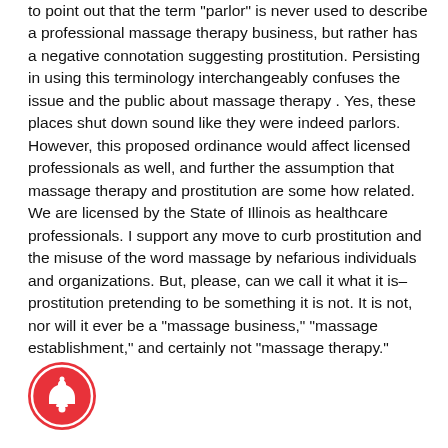to point out that the term "parlor" is never used to describe a professional massage therapy business, but rather has a negative connotation suggesting prostitution. Persisting in using this terminology interchangeably confuses the issue and the public about massage therapy . Yes, these places shut down sound like they were indeed parlors. However, this proposed ordinance would affect licensed professionals as well, and further the assumption that massage therapy and prostitution are some how related. We are licensed by the State of Illinois as healthcare professionals. I support any move to curb prostitution and the misuse of the word massage by nefarious individuals and organizations. But, please, can we call it what it is–prostitution pretending to be something it is not. It is not, nor will it ever be a "massage business," "massage establishment," and certainly not "massage therapy."
[Figure (other): Red circular bell/notification icon]